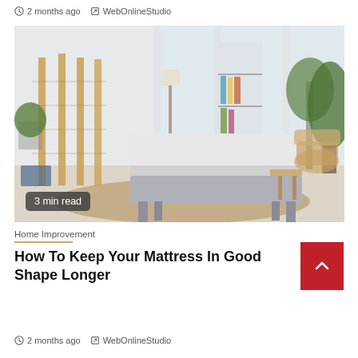2 months ago   WebOnlineStudio
[Figure (photo): Bright minimalist bedroom/living space with a mattress on a bed frame, bamboo room divider, floor lamp, bookshelf, plants, and wicker chair on a jute rug. Badge reads '3 min read'.]
3 min read
Home Improvement
How To Keep Your Mattress In Good Shape Longer
2 months ago   WebOnlineStudio